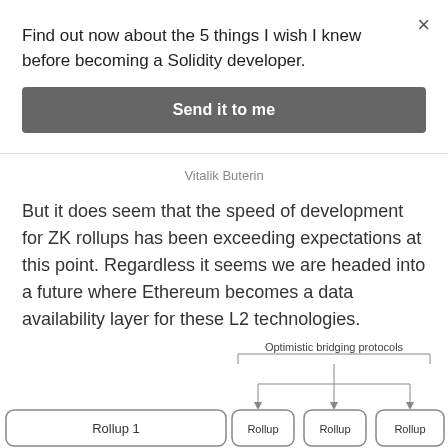Find out now about the 5 things I wish I knew before becoming a Solidity developer.
Send it to me
Vitalik Buterin
But it does seem that the speed of development for ZK rollups has been exceeding expectations at this point. Regardless it seems we are headed into a future where Ethereum becomes a data availability layer for these L2 technologies.
[Figure (flowchart): Diagram showing Rollup 1 on the left connected via 'Optimistic bridging protocols' label to multiple Rollup boxes on the right (Rollup, Rollup, Rollup), with arrows pointing downward from the bridging protocols label to each rollup box.]